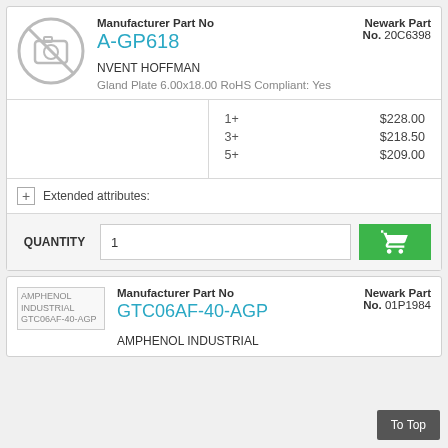[Figure (other): No image placeholder icon (camera with slash) for product A-GP618]
Manufacturer Part No
A-GP618
Newark Part No. 20C6398
NVENT HOFFMAN
Gland Plate 6.00x18.00 RoHS Compliant: Yes
| Qty | Price |
| --- | --- |
| 1+ | $228.00 |
| 3+ | $218.50 |
| 5+ | $209.00 |
+ Extended attributes:
QUANTITY  1
[Figure (other): Product image placeholder for AMPHENOL INDUSTRIAL GTC06AF-40-AGP]
Manufacturer Part No
GTC06AF-40-AGP
Newark Part No. 01P1984
AMPHENOL INDUSTRIAL